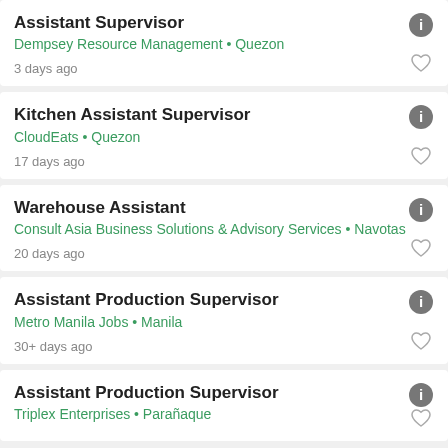Assistant Supervisor
Dempsey Resource Management • Quezon
3 days ago
Kitchen Assistant Supervisor
CloudEats • Quezon
17 days ago
Warehouse Assistant
Consult Asia Business Solutions & Advisory Services • Navotas
20 days ago
Assistant Production Supervisor
Metro Manila Jobs • Manila
30+ days ago
Assistant Production Supervisor
Triplex Enterprises • Parañaque